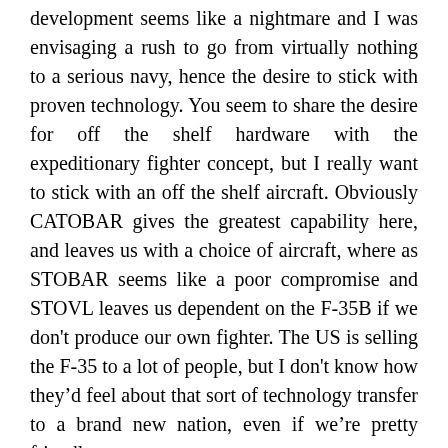development seems like a nightmare and I was envisaging a rush to go from virtually nothing to a serious navy, hence the desire to stick with proven technology. You seem to share the desire for off the shelf hardware with the expeditionary fighter concept, but I really want to stick with an off the shelf aircraft. Obviously CATOBAR gives the greatest capability here, and leaves us with a choice of aircraft, where as STOBAR seems like a poor compromise and STOVL leaves us dependent on the F-35B if we don't produce our own fighter. The US is selling the F-35 to a lot of people, but I don't know how they'd feel about that sort of technology transfer to a brand new nation, even if we're pretty friendly.
Producing our own fighter seems promising...